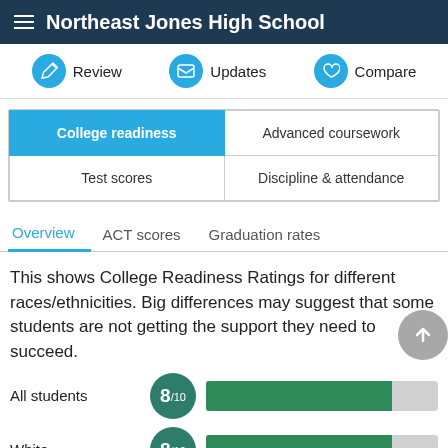Northeast Jones High School
Review   Updates   Compare
| College readiness | Advanced coursework |
| --- | --- |
| Test scores | Discipline & attendance |
Overview   ACT scores   Graduation rates
This shows College Readiness Ratings for different races/ethnicities. Big differences may suggest that some students are not getting the support they need to succeed.
All students  8/10
White  8/10